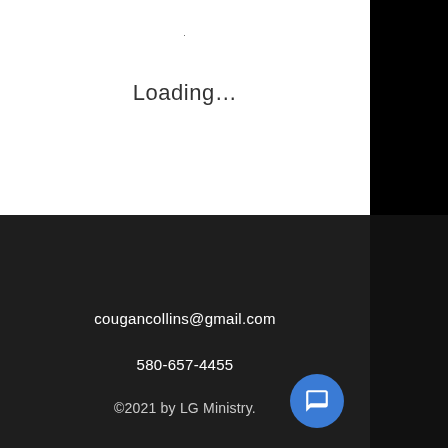·
Loading…
cougancollins@gmail.com
580-657-4455
©2021 by LG Ministry.